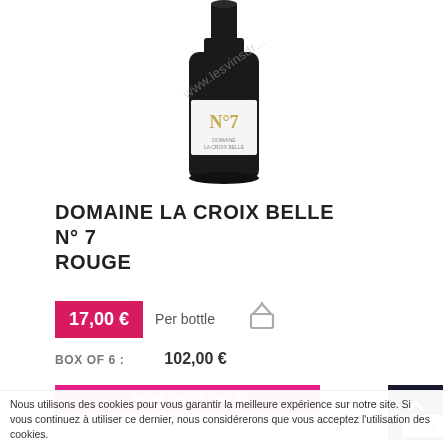[Figure (photo): A dark wine bottle with a white label showing N°7, for Domaine La Croix Belle, with a watermark overlay reading www.lesvinsdrivage or similar]
DOMAINE LA CROIX BELLE N° 7 ROUGE
17,00 € Per bottle
BOX OF 6 : 102,00 €
PLUS DE DÉTAILS
Nous utilisons des cookies pour vous garantir la meilleure expérience sur notre site. Si vous continuez à utiliser ce dernier, nous considérerons que vous acceptez l'utilisation des cookies.
TOP
close